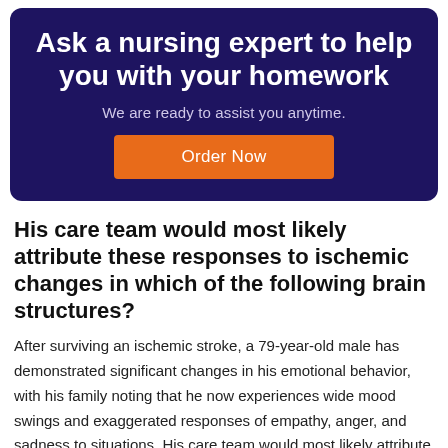Ask a nursing expert to help you with your homework
We are ready to assist you anytime.
Order Now
His care team would most likely attribute these responses to ischemic changes in which of the following brain structures?
After surviving an ischemic stroke, a 79-year-old male has demonstrated significant changes in his emotional behavior, with his family noting that he now experiences wide mood swings and exaggerated responses of empathy, anger, and sadness to situations. His care team would most likely attribute these